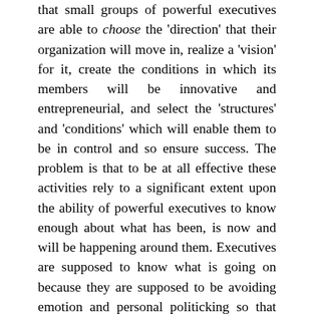that small groups of powerful executives are able to choose the 'direction' that their organization will move in, realize a 'vision' for it, create the conditions in which its members will be innovative and entrepreneurial, and select the 'structures' and 'conditions' which will enable them to be in control and so ensure success. The problem is that to be at all effective these activities rely to a significant extent upon the ability of powerful executives to know enough about what has been, is now and will be happening around them. Executives are supposed to know what is going on because they are supposed to be avoiding emotion and personal politicking so that they can make roughly rational decisions on the basis of the 'facts'. If they cannot do this then, on the basis of dominant thinking, they must simply be pursuing only their own interests and gambling with society's resources.
However, recent and current economic developments are making it clear that executives of large corporations and their management consultants, as well as politicians and their